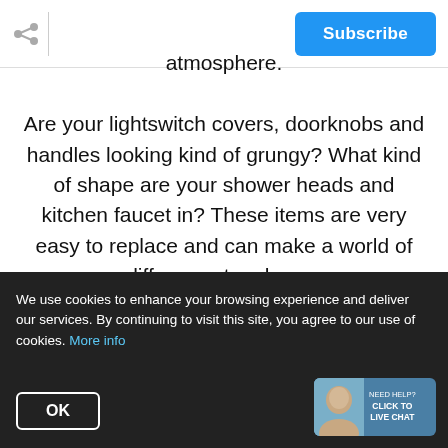Subscribe
atmosphere.
Are your lightswitch covers, doorknobs and handles looking kind of grungy? What kind of shape are your shower heads and kitchen faucet in? These items are very easy to replace and can make a world of difference to a buyer.
We use cookies to enhance your browsing experience and deliver our services. By continuing to visit this site, you agree to our use of cookies. More info
OK
[Figure (screenshot): Live chat widget with avatar and text: NEED HELP? CLICK TO LIVE CHAT]